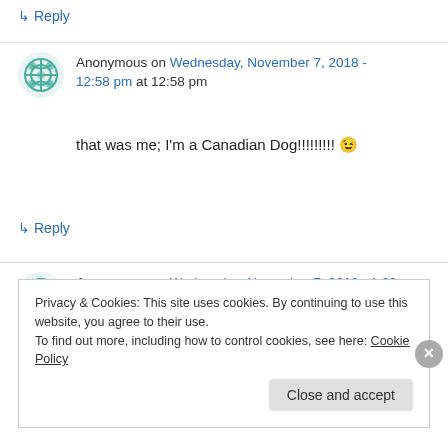↳ Reply
Anonymous on Wednesday, November 7, 2018 - 12:58 pm at 12:58 pm
that was me; I'm a Canadian Dog!!!!!!!!! 😉
↳ Reply
Anonymous on Wednesday, November 7, 2018 - 1:00 pm at 1:00 pm
Privacy & Cookies: This site uses cookies. By continuing to use this website, you agree to their use. To find out more, including how to control cookies, see here: Cookie Policy